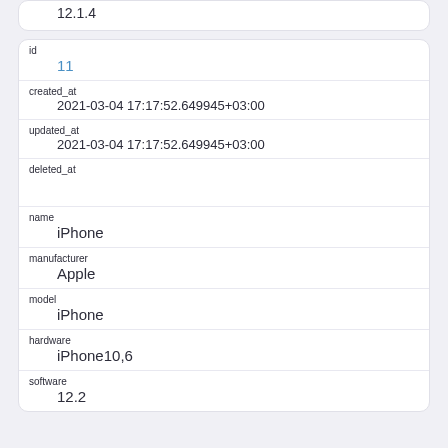| field | value |
| --- | --- |
| (version) | 12.1.4 |
| field | value |
| --- | --- |
| id | 11 |
| created_at | 2021-03-04 17:17:52.649945+03:00 |
| updated_at | 2021-03-04 17:17:52.649945+03:00 |
| deleted_at |  |
| name | iPhone |
| manufacturer | Apple |
| model | iPhone |
| hardware | iPhone10,6 |
| software | 12.2 |